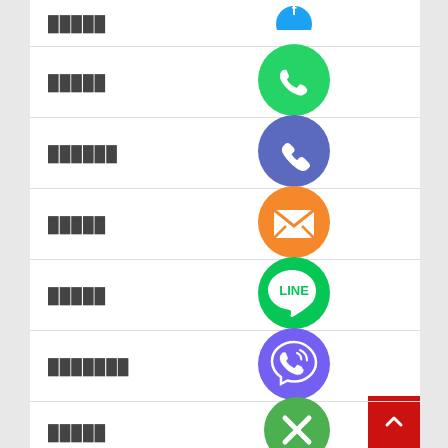█████
[Figure (logo): WhatsApp green circle icon with white phone handset and speech bubble]
██████
[Figure (logo): Blue/purple circle icon with white phone handset (call)]
█████
[Figure (logo): Orange circle icon with white envelope (email)]
█████
[Figure (logo): Green circle LINE messaging app icon with white speech bubble]
███████
[Figure (logo): Purple circle Viber icon with white phone handset and speech bubble]
█████
[Figure (logo): Green circle with white X mark]
█████